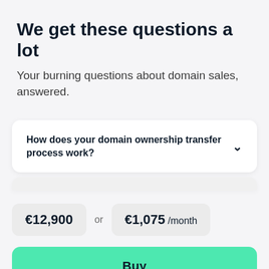We get these questions a lot
Your burning questions about domain sales, answered.
How does your domain ownership transfer process work?
€12,900 or €1,075 /month
Buy